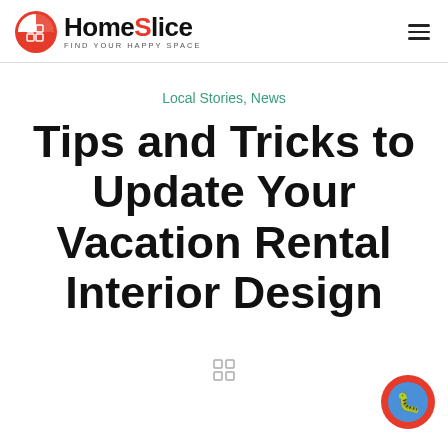HomeSlice — FIND YOUR HAPPY SPACE
Local Stories, News
Tips and Tricks to Update Your Vacation Rental Interior Design
[Figure (other): Accessibility/bug icon button in bottom right corner]
[Figure (other): Calendar/grid icon at bottom center]